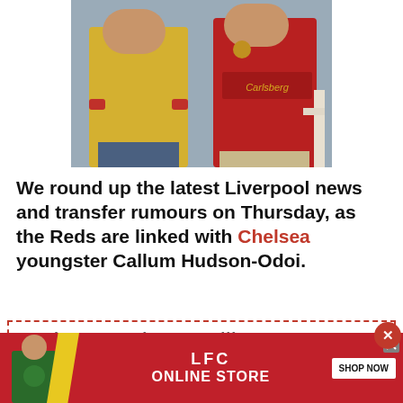[Figure (photo): Two people seated side by side: one wearing a yellow jacket on the left, one wearing a red Liverpool FC Carlsberg jersey on the right]
We round up the latest Liverpool news and transfer rumours on Thursday, as the Reds are linked with Chelsea youngster Callum Hudson-Odoi.
Today's Main Headlines
› Why silverware isn't the only
[Figure (other): LFC Online Store advertisement banner with red background, yellow diagonal stripe, figure in green shirt, LFC ONLINE STORE text, and SHOP NOW button]